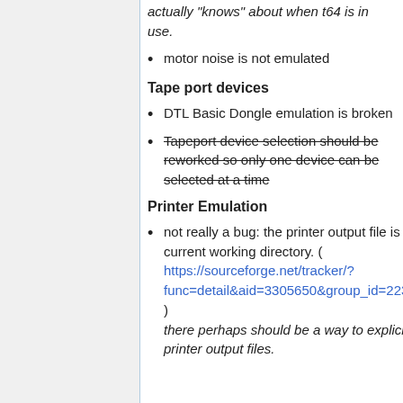actually "knows" about when t64 is in use.
motor noise is not emulated
Tape port devices
DTL Basic Dongle emulation is broken
Tapeport device selection should be reworked so only one device can be selected at a time
Printer Emulation
not really a bug: the printer output file is always created in the current working directory. ( https://sourceforge.net/tracker/?func=detail&aid=3305650&group_id=223021&atid=1057617 ) there perhaps should be a way to explicitly set a directory for printer output files. Orz 01:34, 4 July 2011